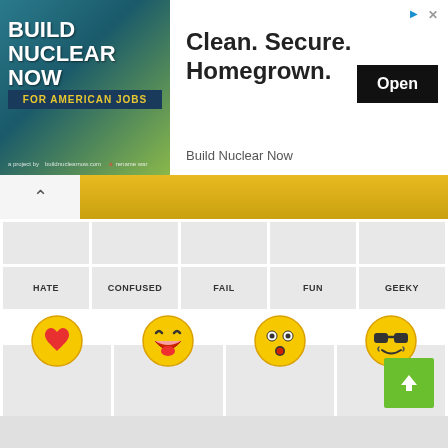[Figure (screenshot): Advertisement banner for 'Build Nuclear Now' showing logo on left with teal/green background and text 'Clean. Secure. Homegrown.' with Open button on right]
[Figure (infographic): Emoji reaction buttons grid showing HATE, CONFUSED, FAIL, FUN, GEEKY labels in top row; then LOVE (heart emoji, 0), LOL (laughing emoji, 0), OMG (surprised emoji, 0), WIN (cool sunglasses emoji, 0) cards with counts]
HATE
CONFUSED
FAIL
FUN
GEEKY
LOVE
LOL
OMG
WIN